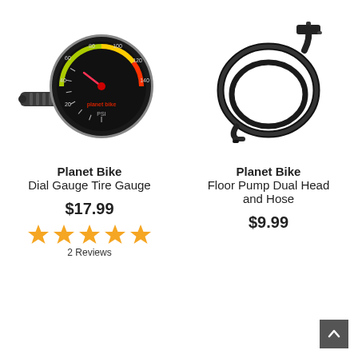[Figure (photo): Planet Bike Dial Gauge Tire Gauge product photo — black circular dial pressure gauge with a handle/nozzle attachment]
[Figure (photo): Planet Bike Floor Pump Dual Head and Hose product photo — black coiled hose with dual pump head attachment]
Planet Bike
Dial Gauge Tire Gauge
$17.99
2 Reviews
Planet Bike
Floor Pump Dual Head and Hose
$9.99